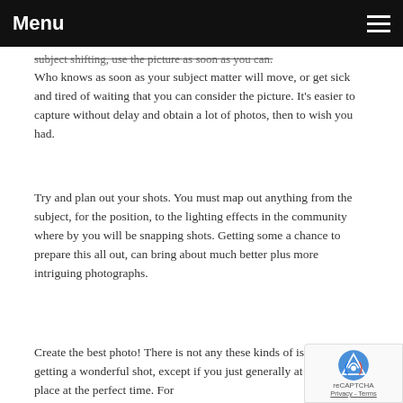Menu
subject shifting, use the picture as soon as you can. Who knows as soon as your subject matter will move, or get sick and tired of waiting that you can consider the picture. It's easier to capture without delay and obtain a lot of photos, then to wish you had.
Try and plan out your shots. You must map out anything from the subject, for the position, to the lighting effects in the community where by you will be snapping shots. Getting some a chance to prepare this all out, can bring about much better plus more intriguing photographs.
Create the best photo! There is not any these kinds of issue as getting a wonderful shot, except if you just generally at the perfect place at the perfect time. For